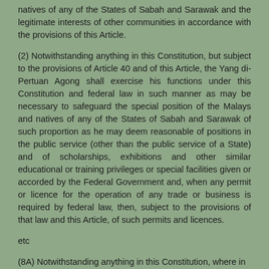natives of any of the States of Sabah and Sarawak and the legitimate interests of other communities in accordance with the provisions of this Article.
(2) Notwithstanding anything in this Constitution, but subject to the provisions of Article 40 and of this Article, the Yang di-Pertuan Agong shall exercise his functions under this Constitution and federal law in such manner as may be necessary to safeguard the special position of the Malays and natives of any of the States of Sabah and Sarawak of such proportion as he may deem reasonable of positions in the public service (other than the public service of a State) and of scholarships, exhibitions and other similar educational or training privileges or special facilities given or accorded by the Federal Government and, when any permit or licence for the operation of any trade or business is required by federal law, then, subject to the provisions of that law and this Article, of such permits and licences.
etc
(8A) Notwithstanding anything in this Constitution, where in